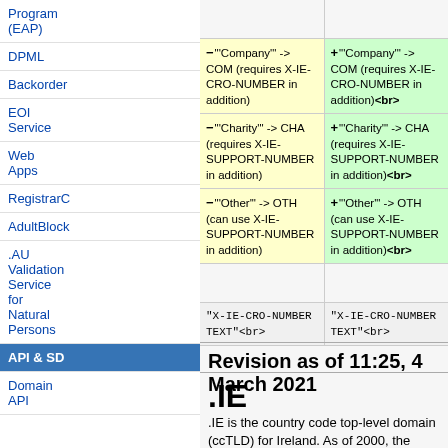Program (EAP)
DPML
Backorder
EOI Service
Web Apps
RegistrarC
AdultBlock
.AU Validation Service for Natural Persons
API & SD
Domain API
| Removed | Added |
| --- | --- |
| - "'Company'" -> COM (requires X-IE-CRO-NUMBER in addition) | + "'Company'" -> COM (requires X-IE-CRO-NUMBER in addition)<br> |
| - "'Charity'" -> CHA (requires X-IE-SUPPORT-NUMBER in addition) | + "'Charity'" -> CHA (requires X-IE-SUPPORT-NUMBER in addition)<br> |
| - "'Other'" -> OTH (can use X-IE-SUPPORT-NUMBER in addition) | + "'Other'" -> OTH (can use X-IE-SUPPORT-NUMBER in addition)<br> |
|  |  |
| "X-IE-CRO-NUMBER TEXT"<br> | "X-IE-CRO-NUMBER TEXT"<br> |
Revision as of 11:25, 4 March 2021
.IE
.IE is the country code top-level domain (ccTLD) for Ireland. As of 2000, the business of administrating the domain